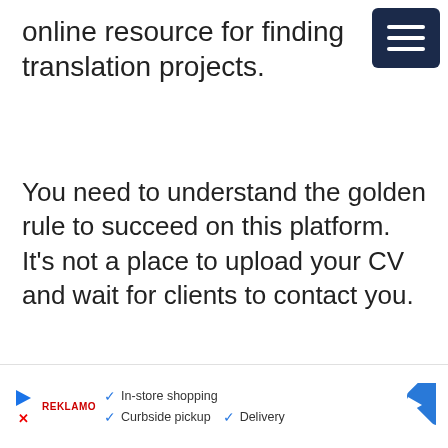online resource for finding translation projects.
You need to understand the golden rule to succeed on this platform. It's not a place to upload your CV and wait for clients to contact you.
LinkedIn requires active participation f…
[Figure (infographic): Advertisement banner with a play button icon, a red brand logo reading REKLAMO, checkmarks listing 'In-store shopping', 'Curbside pickup', 'Delivery', and a blue diamond-shaped navigation arrow icon on the right.]